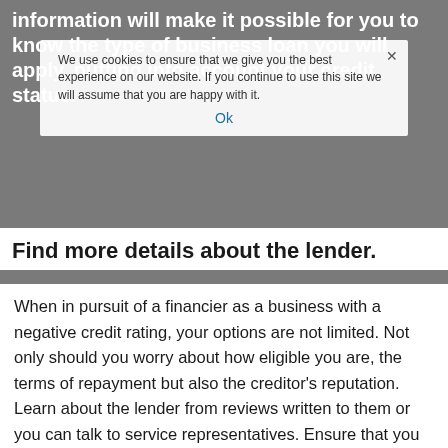information will make it possible for you to know the type of business loan you will apply, putting into account your credit status.
We use cookies to ensure that we give you the best experience on our website. If you continue to use this site we will assume that you are happy with it. Ok
Find more details about the lender.
When in pursuit of a financier as a business with a negative credit rating, your options are not limited. Not only should you worry about how eligible you are, the terms of repayment but also the creditor's reputation. Learn about the lender from reviews written to them or you can talk to service representatives. Ensure that you discover the willingness of the investor in supporting you and the firm to achieve success. Besides, look into whether the moneylender has a tremendous record of satisfied clients.